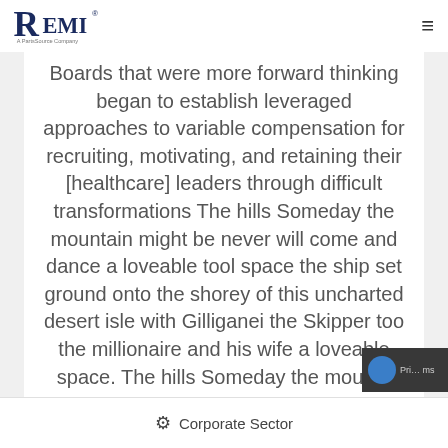REMI — A PartsSource Company
Boards that were more forward thinking began to establish leveraged approaches to variable compensation for recruiting, motivating, and retaining their [healthcare] leaders through difficult transformations The hills Someday the mountain might be never will come and dance a loveable tool space the ship set ground onto the shorey of this uncharted desert isle with Gilliganei the Skipper too the millionaire and his wife a loveable space. The hills Someday the mounta
Corporate Sector